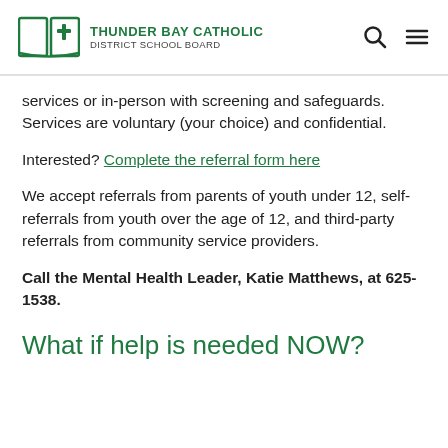Thunder Bay Catholic District School Board
services or in-person with screening and safeguards. Services are voluntary (your choice) and confidential.
Interested? Complete the referral form here
We accept referrals from parents of youth under 12, self-referrals from youth over the age of 12, and third-party referrals from community service providers.
Call the Mental Health Leader, Katie Matthews, at 625-1538.
What if help is needed NOW?